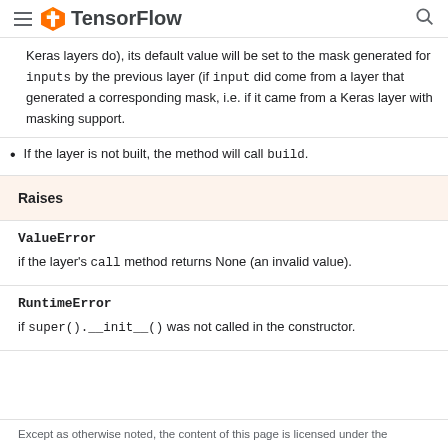TensorFlow
Keras layers do), its default value will be set to the mask generated for inputs by the previous layer (if input did come from a layer that generated a corresponding mask, i.e. if it came from a Keras layer with masking support.
If the layer is not built, the method will call build.
Raises
ValueError
if the layer's call method returns None (an invalid value).
RuntimeError
if super().__init__() was not called in the constructor.
Except as otherwise noted, the content of this page is licensed under the